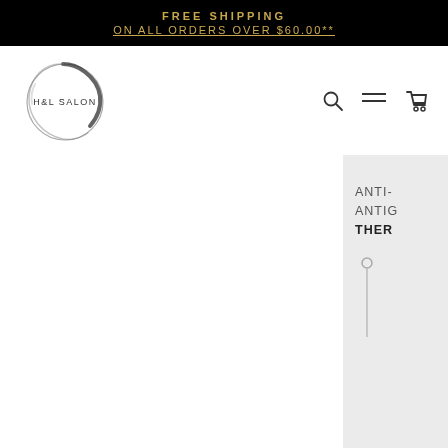FREE SHIPPING
ON ALL ORDERS OVER $60.00**
[Figure (logo): H&L Salon circular logo with brushstroke circle]
[Figure (infographic): Navigation icons: search magnifier, hamburger menu, shopping cart]
ANTI-
ANTIO
THER
[Figure (illustration): Small circle dot with vertical line below on right panel]